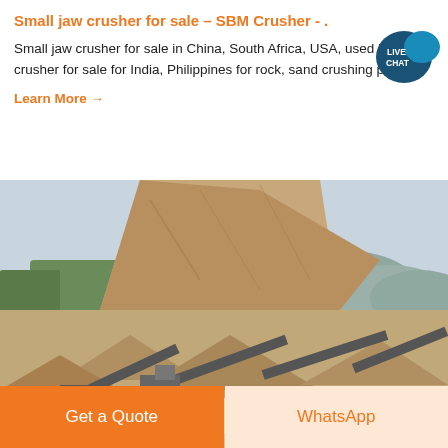Small jaw crusher for sale – SBM Crusher - .
Small jaw crusher for sale in China, South Africa, USA, used jaw crusher for sale for India, Philippines for rock, sand crushing plant.
Learn More →
[Figure (photo): Aerial view of a quarry/mining site with jaw crusher equipment, conveyor belts, and stockpiles of crushed rock material, with mountainous terrain in the background.]
Get a Quote
WhatsApp